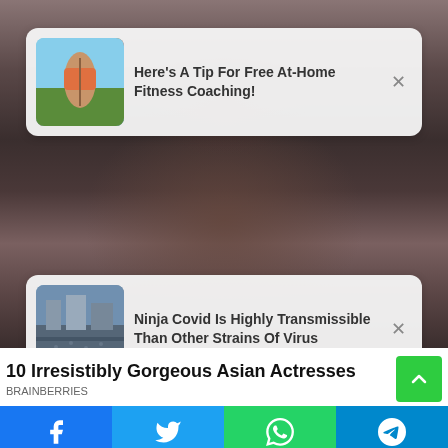[Figure (photo): Background photo of a woman with brown hair, wearing a black top, eyes visible between two notification cards]
Here's A Tip For Free At-Home Fitness Coaching!
Ninja Covid Is Highly Transmissible Than Other Strains Of Virus
10 Irresistibly Gorgeous Asian Actresses
BRAINBERRIES
[Figure (infographic): Social share bar with Facebook, Twitter, WhatsApp, and Telegram buttons]